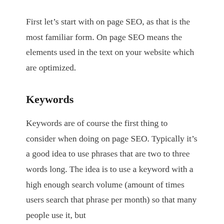First let's start with on page SEO, as that is the most familiar form. On page SEO means the elements used in the text on your website which are optimized.
Keywords
Keywords are of course the first thing to consider when doing on page SEO. Typically it's a good idea to use phrases that are two to three words long. The idea is to use a keyword with a high enough search volume (amount of times users search that phrase per month) so that many people use it, but